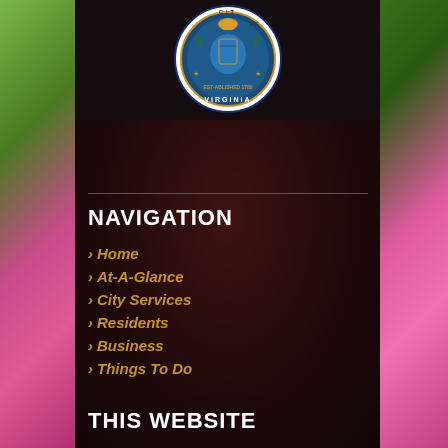[Figure (logo): City seal/logo of a Virginia city (established 1780), circular blue and gold design with eagle and coat of arms, 'VIRGINIA' text visible at bottom]
NAVIGATION
Home
At-A-Glance
City Services
Residents
Business
Things To Do
THIS WEBSITE